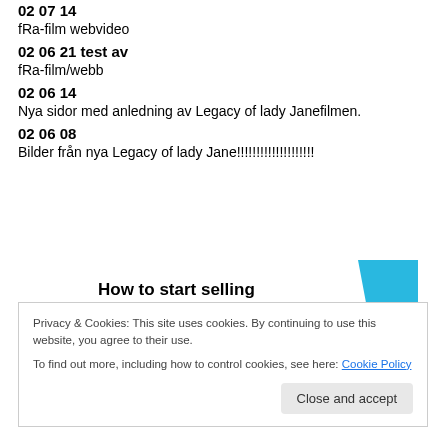02 07 14
fRa-film webvideo
02 06 21 test av
fRa-film/webb
02 06 14
Nya sidor med anledning av Legacy of lady Janefilmen.
02 06 08
Bilder från nya Legacy of lady Jane!!!!!!!!!!!!!!!!!!!!
[Figure (infographic): Advertisement banner: 'How to start selling subscriptions online' with a cyan geometric shape on the right]
Privacy & Cookies: This site uses cookies. By continuing to use this website, you agree to their use.
To find out more, including how to control cookies, see here: Cookie Policy